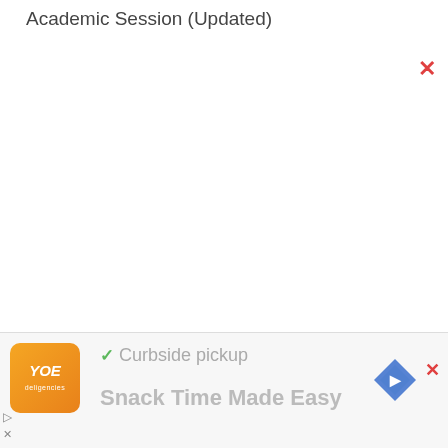Academic Session (Updated)
[Figure (screenshot): White blank content area of web page]
[Figure (infographic): Advertisement banner at bottom: orange logo with stylized text, checkmark with 'Curbside pickup' text, 'Snack Time Made Easy' tagline, navigation arrow icon, and close (X) button]